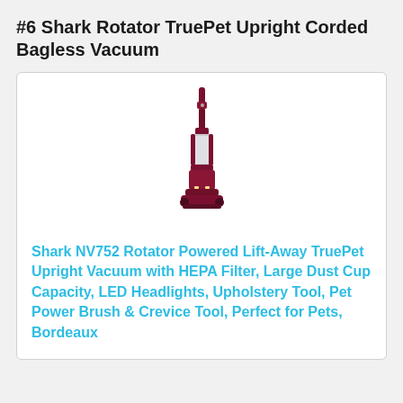#6 Shark Rotator TruePet Upright Corded Bagless Vacuum
[Figure (photo): Shark Rotator TruePet upright vacuum cleaner in Bordeaux/dark red color, shown standing upright]
Shark NV752 Rotator Powered Lift-Away TruePet Upright Vacuum with HEPA Filter, Large Dust Cup Capacity, LED Headlights, Upholstery Tool, Pet Power Brush & Crevice Tool, Perfect for Pets, Bordeaux